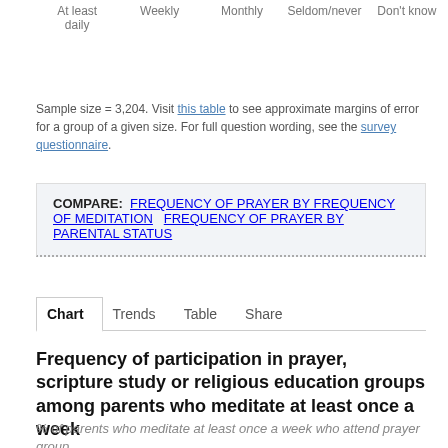At least daily | Weekly | Monthly | Seldom/never | Don't know
Sample size = 3,204. Visit this table to see approximate margins of error for a group of a given size. For full question wording, see the survey questionnaire.
COMPARE: FREQUENCY OF PRAYER BY FREQUENCY OF MEDITATION   FREQUENCY OF PRAYER BY PARENTAL STATUS
Chart   Trends   Table   Share
Frequency of participation in prayer, scripture study or religious education groups among parents who meditate at least once a week
% of parents who meditate at least once a week who attend prayer group…